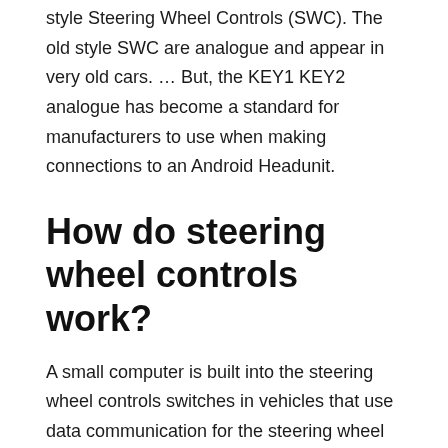style Steering Wheel Controls (SWC). The old style SWC are analogue and appear in very old cars. … But, the KEY1 KEY2 analogue has become a standard for manufacturers to use when making connections to an Android Headunit.
How do steering wheel controls work?
A small computer is built into the steering wheel controls switches in vehicles that use data communication for the steering wheel audio controls. … When you press a switch on the steering wheel, the computer sends a digital communication to the computer in the radio.